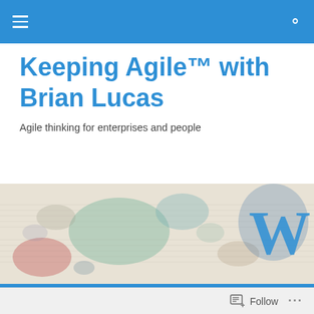Navigation bar with hamburger menu and search icon
Keeping Agile™ with Brian Lucas
Agile thinking for enterprises and people
[Figure (illustration): Watercolor-style banner image with blue, green, teal, and red ink blots on a light background. A large WordPress 'W' logo appears on the right side in blue.]
Can Management Pride Prevent An Agile Survival?
Follow ...